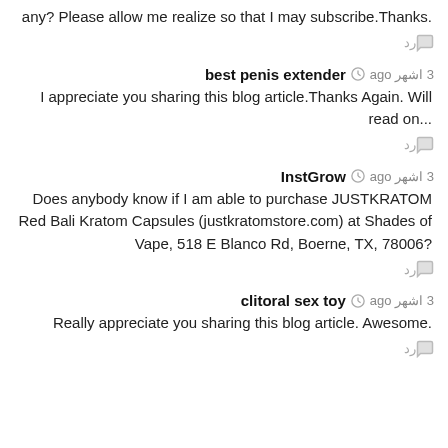.any? Please allow me realize so that I may subscribe.Thanks
رد 💬
best penis extender  🕐 3 اشهر ago
I appreciate you sharing this blog article.Thanks Again. Will read on...
رد 💬
InstGrow  🕐 3 اشهر ago
Does anybody know if I am able to purchase JUSTKRATOM Red Bali Kratom Capsules (justkratomstore.com) at Shades of Vape, 518 E Blanco Rd, Boerne, TX, 78006?
رد 💬
clitoral sex toy  🕐 3 اشهر ago
Really appreciate you sharing this blog article. Awesome.
رد 💬